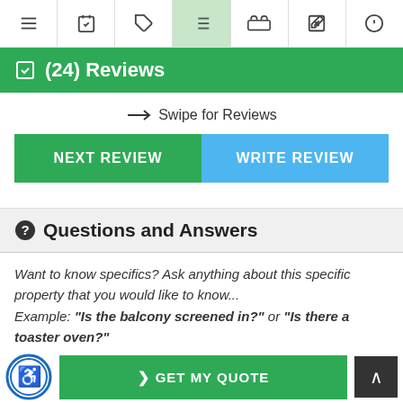Navigation bar with icons: menu, calendar, tag, list (active), bed, edit, help
(24) Reviews
← Swipe for Reviews
NEXT REVIEW | WRITE REVIEW
Questions and Answers
Want to know specifics? Ask anything about this specific property that you would like to know... Example: "Is the balcony screened in?" or "Is there a toaster oven?"
> GET MY QUOTE